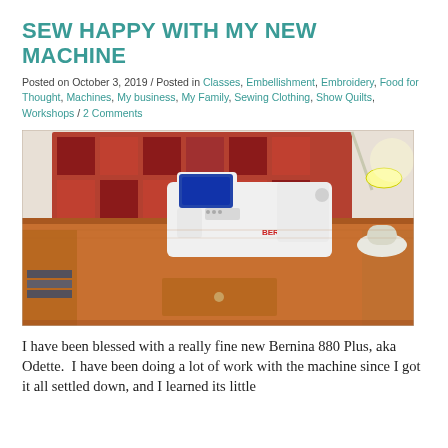SEW HAPPY WITH MY NEW MACHINE
Posted on October 3, 2019 / Posted in Classes, Embellishment, Embroidery, Food for Thought, Machines, My business, My Family, Sewing Clothing, Show Quilts, Workshops / 2 Comments
[Figure (photo): A Bernina 880 Plus sewing machine (labeled BERNINA) sitting in a wooden sewing cabinet/table, with a colorful quilt hanging on the wall in the background, a lamp visible at the top right, and various sewing supplies on the right side.]
I have been blessed with a really fine new Bernina 880 Plus, aka Odette.  I have been doing a lot of work with the machine since I got it all settled down, and I learned its little